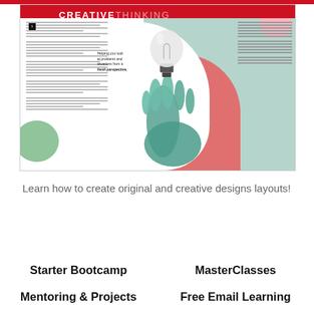[Figure (screenshot): A magazine spread showing 'CREATIVE THINKING' title with a hand holding a lightbulb, text blocks, and decorative color shapes (teal, coral, pink, green blobs). The spread includes the text 'Helping you look at problems and situations from a fresh perspective.']
Learn how to create original and creative designs layouts!
Continue reading
Starter Bootcamp
MasterClasses
Mentoring & Projects
Free Email Learning